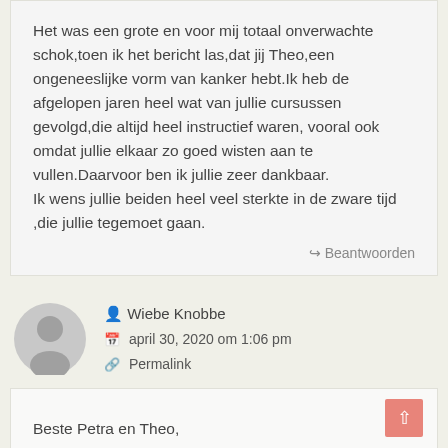Het was een grote en voor mij totaal onverwachte schok,toen ik het bericht las,dat jij Theo,een ongeneeslijke vorm van kanker hebt.Ik heb de afgelopen jaren heel wat van jullie cursussen gevolgd,die altijd heel instructief waren, vooral ook omdat jullie elkaar zo goed wisten aan te vullen.Daarvoor ben ik jullie zeer dankbaar. Ik wens jullie beiden heel veel sterkte in de zware tijd ,die jullie tegemoet gaan.
↪ Beantwoorden
[Figure (illustration): Grey placeholder avatar icon showing a generic person silhouette]
Wiebe Knobbe
april 30, 2020 om 1:06 pm
Permalink
Beste Petra en Theo,